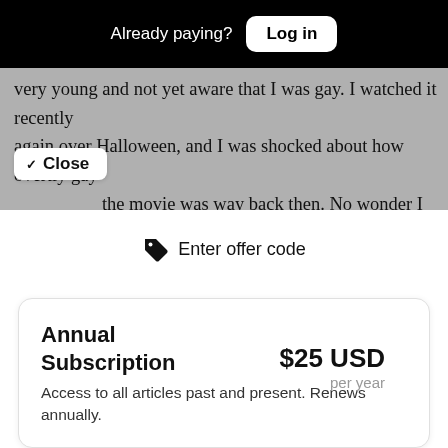Already paying? Log in
very young and not yet aware that I was gay. I watched it recently again over Halloween, and I was shocked about how overtly gay the movie was way back then. No wonder I loved the
✓ Close
🏷 Enter offer code
| Annual Subscription | $25 USD per year |
| --- | --- |
| Access to all articles past and present. Renews annually. |  |